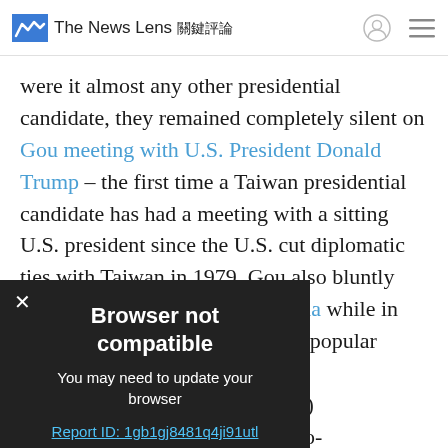The News Lens 關鍵評論
were it almost any other presidential candidate, they remained completely silent on Gou meeting with U.S. President Donald Trump – the first time a Taiwan presidential candidate has had a meeting with a sitting U.S. president since the U.S. cut diplomatic ties with Taiwan in 1979. Gou also bluntly stated that Taiwan is part of China while in the U.S., ...ars but not a popular ...as since claimed that ...ne Republic of China.) ...Eric Chu and Han Kuo-yu have received some positive press in China in the past – albeit not so gushing – while Wang Jin-pyng has not been so well received by the CCP.
[Figure (screenshot): Browser not compatible popup overlay with dark background, X close button, title 'Browser not compatible', body text 'You may need to update your browser', and a report ID link 'Report ID: 1gb1gj8481q4ji91utl'. Below is 'Powered by GliaStudio' watermark.]